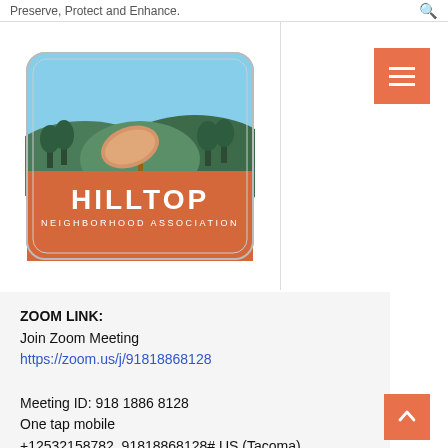Preserve, Protect and Enhance.
[Figure (logo): Hilltop Neighborhood Association logo: rounded rectangle with blue sky, green hills and trees, satellite dish, orange/terracotta lower half with white text 'HILLTOP NEIGHBORHOOD ASSOCIATION']
ZOOM LINK:
Join Zoom Meeting
https://zoom.us/j/91818868128

Meeting ID: 918 1886 8128
One tap mobile
+12532158782,,91818868128# US (Tacoma)
+13462487799,,91818868128# US (Houston)